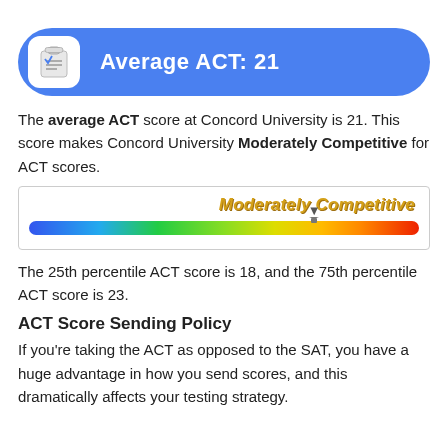[Figure (infographic): Blue rounded banner with ACT clipboard icon and text 'Average ACT: 21']
The average ACT score at Concord University is 21. This score makes Concord University Moderately Competitive for ACT scores.
[Figure (infographic): Competitiveness gauge bar showing a gradient from blue to green to yellow to orange to red, with a pointer marker and 'Moderately Competitive' label in yellow italic text above the pointer.]
The 25th percentile ACT score is 18, and the 75th percentile ACT score is 23.
ACT Score Sending Policy
If you're taking the ACT as opposed to the SAT, you have a huge advantage in how you send scores, and this dramatically affects your testing strategy.